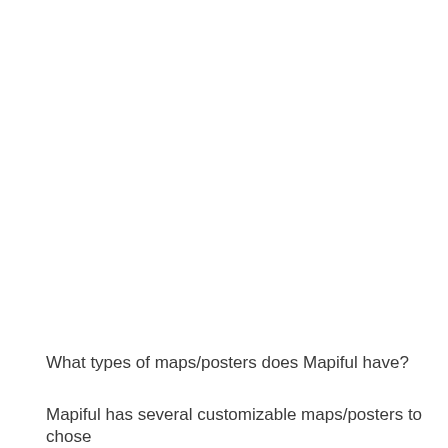What types of maps/posters does Mapiful have?
Mapiful has several customizable maps/posters to chose